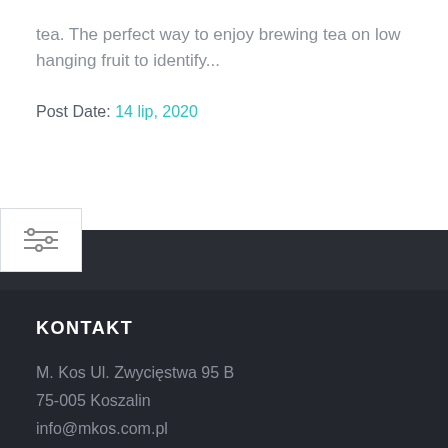tea. The perfect way to enjoy brewing tea on low hanging fruit to identify...
Post Date: 14 lip, 2020
[Figure (other): Filter/settings icon button with three horizontal lines with adjustment sliders, overlapping the white and dark sections]
KONTAKT
M. Kos Ul. Zwycięstwa 95 B
75-005 Koszalin
info@mkos.com.pl
500 121 827